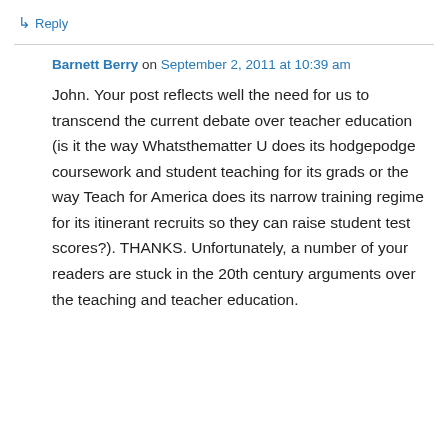↳ Reply
Barnett Berry on September 2, 2011 at 10:39 am
John. Your post reflects well the need for us to transcend the current debate over teacher education (is it the way Whatsthematter U does its hodgepodge coursework and student teaching for its grads or the way Teach for America does its narrow training regime for its itinerant recruits so they can raise student test scores?). THANKS. Unfortunately, a number of your readers are stuck in the 20th century arguments over the teaching and teacher education.